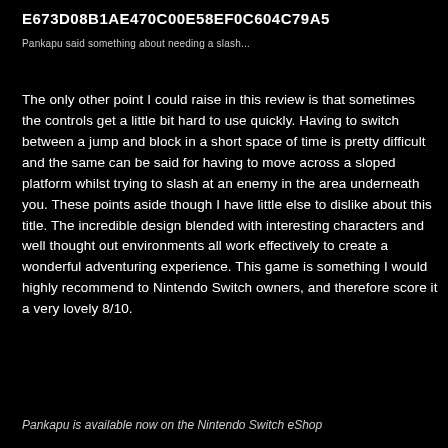E673D08B1AE470C00E58EF0C604C79A5
Pankapu said something about needing a slash...
The only other point I could raise in this review is that sometimes the controls get a little bit hard to use quickly. Having to switch between a jump and block in a short space of time is pretty difficult and the same can be said for having to move across a sloped platform whilst trying to slash at an enemy in the area underneath you. These points aside though I have little else to dislike about this title. The incredible design blended with interesting characters and well thought out environments all work effectively to create a wonderful adventuring experience. This game is something I would highly recommend to Nintendo Switch owners, and therefore score it a very lovely 8/10.
Pankapu is available now on the Nintendo Switch eShop